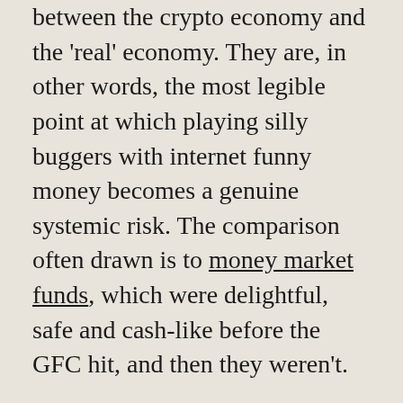between the crypto economy and the 'real' economy. They are, in other words, the most legible point at which playing silly buggers with internet funny money becomes a genuine systemic risk. The comparison often drawn is to money market funds, which were delightful, safe and cash-like before the GFC hit, and then they weren't.
There are broadly two types of stablecoins. The first are, ostensibly, backed — either by fiat currency, other crypto, or commodities. Tether (also known as USDT) is an example of a fiat-backed stablecoin. In a perfect world, there is 1 US dollar in a bank for every 1 USDT — meaning that even if you have a very large amount of the